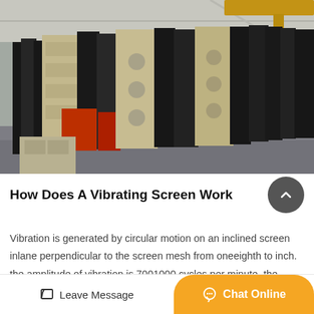[Figure (photo): Industrial warehouse interior showing rows of large vibrating screen machinery units, alternating black and beige/cream colored panels stacked and leaned against each other on a concrete floor, with red accents visible. Overhead crane and industrial lighting visible in background.]
How Does A Vibrating Screen Work
Vibration is generated by circular motion on an inclined screen inlane perpendicular to the screen mesh from oneeighth to inch. the amplitude of vibration is 7001000 cycles per minute. the vibration
Leave Message  Chat Online